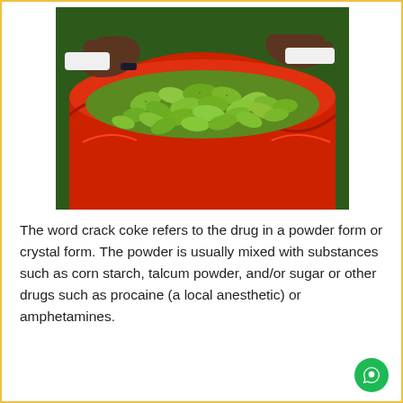[Figure (photo): A large red plastic bag filled with green leaves (coca leaves), with dark-skinned hands visible at the top holding or opening the bag.]
The word crack coke refers to the drug in a powder form or crystal form. The powder is usually mixed with substances such as corn starch, talcum powder, and/or sugar or other drugs such as procaine (a local anesthetic) or amphetamines.